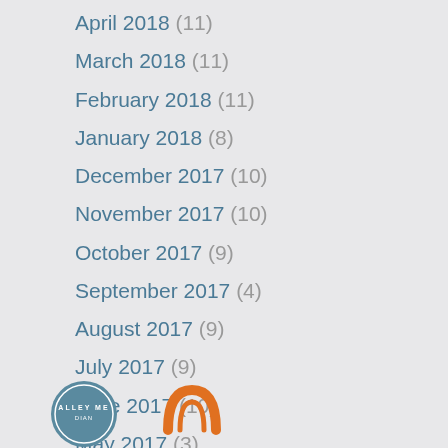April 2018 (11)
March 2018 (11)
February 2018 (11)
January 2018 (8)
December 2017 (10)
November 2017 (10)
October 2017 (9)
September 2017 (4)
August 2017 (9)
July 2017 (9)
June 2017 (10)
May 2017 (3)
[Figure (logo): Two logos at the bottom: a circular badge with text 'ALLEY ME...' and an orange arch/umbrella logo]